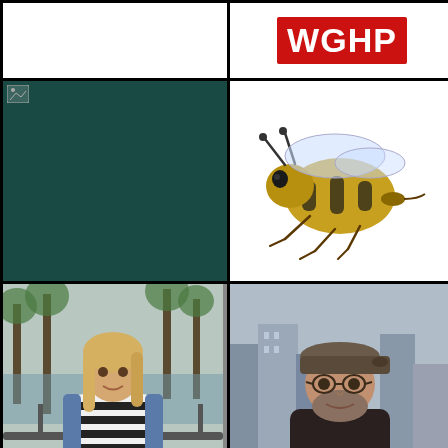[Figure (other): Blank white rectangle, top-left cell]
[Figure (logo): WGHP logo - red background with white bold text]
[Figure (other): Dark teal background with a small broken image icon in the top-left corner]
[Figure (photo): Close-up macro photograph of a honey bee on a white background, facing left, showing detailed legs, wings, and fuzzy body with yellow and black stripes]
[Figure (photo): Photo of a blonde woman in a striped shirt and denim jacket leaning on a railing with palm trees in the background]
[Figure (photo): Photo of a bearded man wearing glasses and a flat cap, with a city skyline background]
[Figure (other): Dark teal background with a downward-pointing triangle/chevron shape in gray/silver]
[Figure (other): Light gray background with a partial circular arc shape at the bottom center]